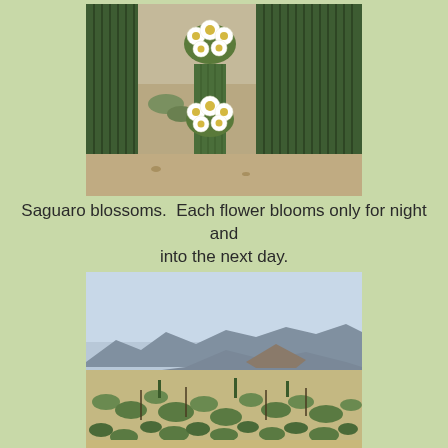[Figure (photo): Close-up photograph of saguaro cactus with white blossoms clustered at the top, set against a desert background with sandy ground and shrubs]
Saguaro blossoms.  Each flower blooms only for night and into the next day.
[Figure (photo): Wide landscape photograph of a desert scene with scrubby green vegetation in the foreground, flat desert terrain, and mountains visible in the hazy background under a light blue sky]